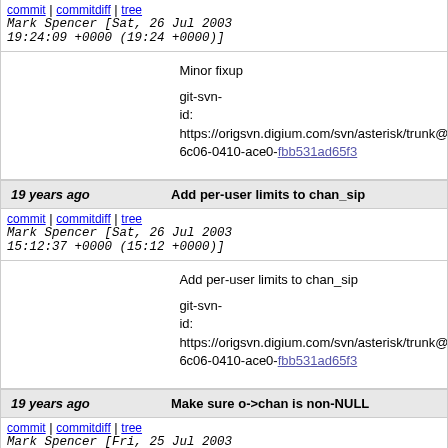commit | commitdiff | tree   Mark Spencer [Sat, 26 Jul 2003 19:24:09 +0000 (19:24 +0000)]
Minor fixup

git-svn-id: https://origsvn.digium.com/svn/asterisk/trunk@6c06-0410-ace0-fbb531ad65f3
19 years ago   Add per-user limits to chan_sip
commit | commitdiff | tree   Mark Spencer [Sat, 26 Jul 2003 15:12:37 +0000 (15:12 +0000)]
Add per-user limits to chan_sip

git-svn-id: https://origsvn.digium.com/svn/asterisk/trunk@6c06-0410-ace0-fbb531ad65f3
19 years ago   Make sure o->chan is non-NULL
commit | commitdiff | tree   Mark Spencer [Fri, 25 Jul 2003 15:32:02 +0000 (15:32 +0000)]
Make sure o->chan is non-NULL

git-svn-id: https://origsvn.digium.com/svn/asterisk/trunk@